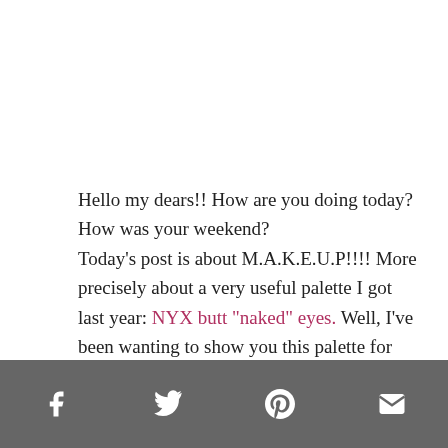Hello my dears!! How are you doing today? How was your weekend? Today's post is about M.A.K.E.U.P!!!! More precisely about a very useful palette I got last year: NYX butt "naked" eyes. Well, I've been wanting to show you this palette for months now, but I had always more "relevant" things to write about, and kept postponing it.
Social sharing icons: Facebook, Twitter, Pinterest, Email